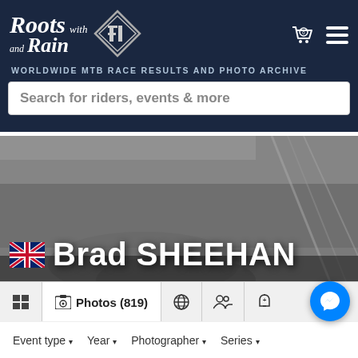Roots and Rain with [logo] WORLDWIDE MTB RACE RESULTS AND PHOTO ARCHIVE
Search for riders, events & more
[Figure (screenshot): Grayscale photo background of mountain bike racing, showing a rider going through muddy terrain with forest/track elements visible]
Brad SHEEHAN
Photos (819)
Event type ▾   Year ▾   Photographer ▾   Series ▾